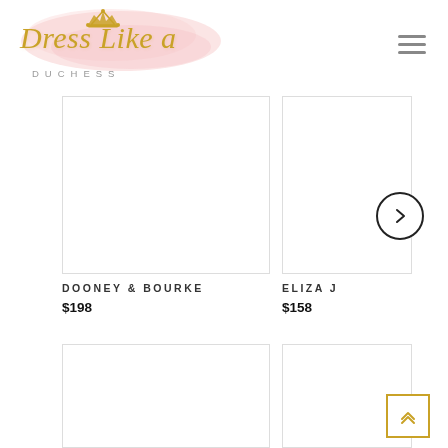[Figure (logo): Dress Like a Duchess logo with pink watercolor background, gold crown icon above script text, and 'DUCHESS' in spaced caps below]
[Figure (other): Hamburger menu icon (three horizontal lines)]
[Figure (other): White product image card for Dooney & Bourke]
DOONEY & BOURKE
$198
[Figure (other): White product image card for Eliza J (partially visible)]
ELIZA J
$158
[Figure (other): Next/forward arrow button (circle with right chevron)]
[Figure (other): White product image card row 2 left (partially visible at bottom)]
[Figure (other): White product image card row 2 right (partially visible at bottom)]
[Figure (other): Back to top button (square with double up chevron, gold border)]